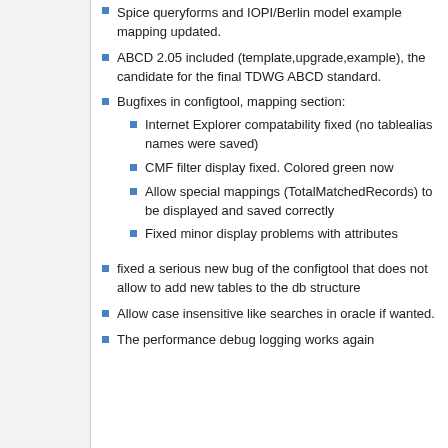Spice queryforms and IOPI/Berlin model example mapping updated.
ABCD 2.05 included (template,upgrade,example), the candidate for the final TDWG ABCD standard.
Bugfixes in configtool, mapping section:
Internet Explorer compatability fixed (no tablealias names were saved)
CMF filter display fixed. Colored green now
Allow special mappings (TotalMatchedRecords) to be displayed and saved correctly
Fixed minor display problems with attributes
fixed a serious new bug of the configtool that does not allow to add new tables to the db structure
Allow case insensitive like searches in oracle if wanted.
The performance debug logging works again